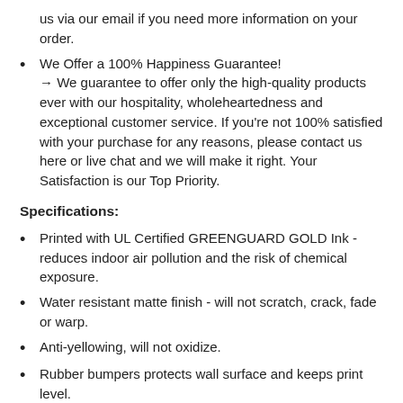us via our email if you need more information on your order.
We Offer a 100% Happiness Guarantee! → We guarantee to offer only the high-quality products ever with our hospitality, wholeheartedness and exceptional customer service. If you're not 100% satisfied with your purchase for any reasons, please contact us here or live chat and we will make it right. Your Satisfaction is our Top Priority.
Specifications:
Printed with UL Certified GREENGUARD GOLD Ink - reduces indoor air pollution and the risk of chemical exposure.
Water resistant matte finish - will not scratch, crack, fade or warp.
Anti-yellowing, will not oxidize.
Rubber bumpers protects wall surface and keeps print level.